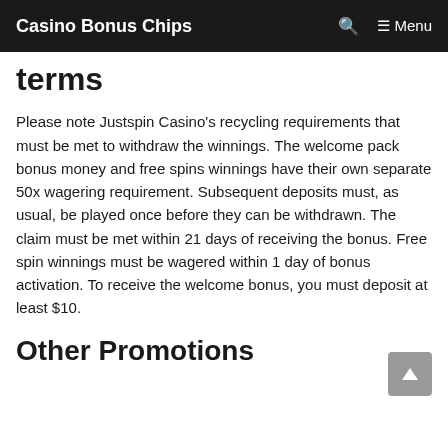Casino Bonus Chips  🔍  ☰ Menu
terms
Please note Justspin Casino's recycling requirements that must be met to withdraw the winnings. The welcome pack bonus money and free spins winnings have their own separate 50x wagering requirement. Subsequent deposits must, as usual, be played once before they can be withdrawn. The claim must be met within 21 days of receiving the bonus. Free spin winnings must be wagered within 1 day of bonus activation. To receive the welcome bonus, you must deposit at least $10.
Other Promotions